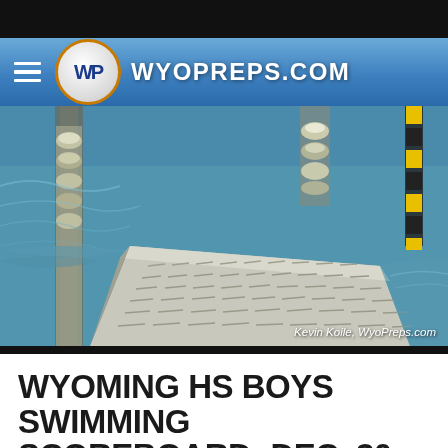WYOPREPS.COM
[Figure (photo): Close-up photo of a swimming pool showing lane dividers with metallic floating buoys and a starting block platform in the foreground, with blue water visible.]
Kevin Koile, WyoPreps.com
WYOMING HS BOYS SWIMMING SCOREBOARD: DEC. 30, 2020 –